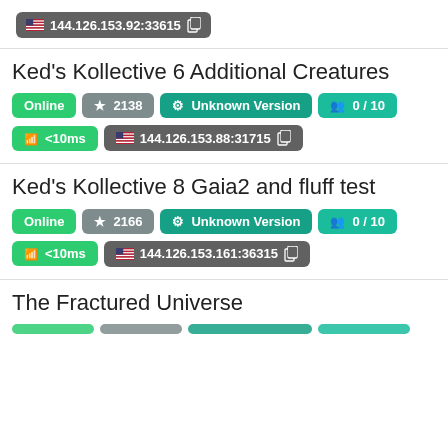144.126.153.92:33615
Ked's Kollective 6 Additional Creatures
Online | ★ 2138 | ⚙ Unknown Version | 👥 0 / 10 | 📶 <10ms | 🇺🇸 144.126.153.88:31715
Ked's Kollective 8 Gaia2 and fluff test
Online | ★ 2166 | ⚙ Unknown Version | 👥 0 / 10 | 📶 <10ms | 🇺🇸 144.126.153.161:36315
The Fractured Universe